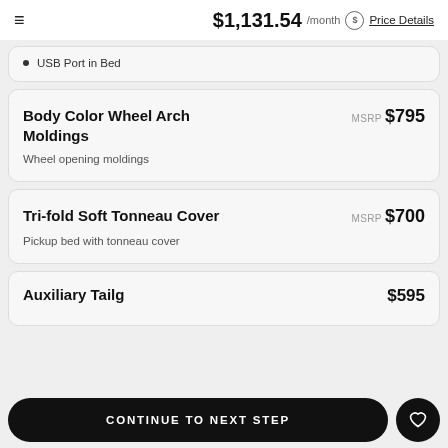$1,131.54 /month Price Details
USB Port in Bed
Body Color Wheel Arch Moldings
MSRP $795
Wheel opening moldings
Tri-fold Soft Tonneau Cover
MSRP $700
Pickup bed with tonneau cover
Auxiliary Tailg... $595
CONTINUE TO NEXT STEP